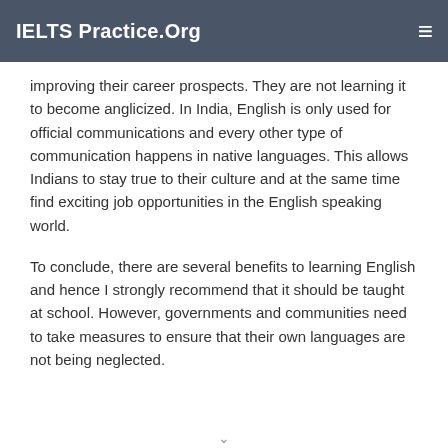IELTS Practice.Org
improving their career prospects. They are not learning it to become anglicized. In India, English is only used for official communications and every other type of communication happens in native languages. This allows Indians to stay true to their culture and at the same time find exciting job opportunities in the English speaking world.
To conclude, there are several benefits to learning English and hence I strongly recommend that it should be taught at school. However, governments and communities need to take measures to ensure that their own languages are not being neglected.